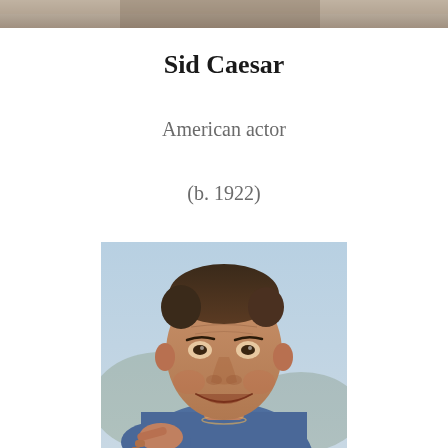[Figure (photo): Partial top strip showing a cropped photo at the very top of the page]
Sid Caesar
American actor
(b. 1922)
[Figure (photo): Color photograph of Sid Caesar, an older man with dark hair pointing toward the camera and smiling, wearing a blue shirt, outdoor background]